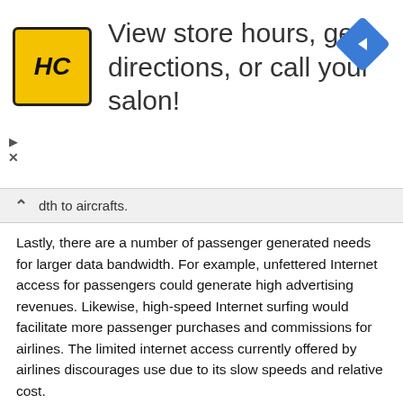[Figure (screenshot): Advertisement banner showing HC (Hair Club) logo and text: View store hours, get directions, or call your salon! with a navigation diamond icon on the right. Play and close controls on the left.]
dth to aircrafts.
Lastly, there are a number of passenger generated needs for larger data bandwidth. For example, unfettered Internet access for passengers could generate high advertising revenues. Likewise, high-speed Internet surfing would facilitate more passenger purchases and commissions for airlines. The limited internet access currently offered by airlines discourages use due to its slow speeds and relative cost.
Those airborne platform that are equipped to provide Internet access, or data communication, typically do so at little more than dial-up speeds. This is due, as stated earlier, to current technological and financial hurdles. One simple approach would be to purchase licensed radio frequency (RF) spectrum to devise a dedicated surface to airborne platform communication network. However such a system would requires substantial spectrum to service an airline fleet and is thus financially prohibitive. For example, it is expected that 160 MHz of spectrum would be required to achieve the desired performance. A recent purchase by Verizon of 14 MHz cost the company between one and two billion dollars. Of course some spectrum is